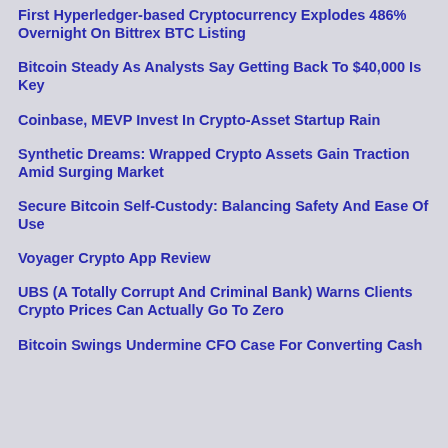First Hyperledger-based Cryptocurrency Explodes 486% Overnight On Bittrex BTC Listing
Bitcoin Steady As Analysts Say Getting Back To $40,000 Is Key
Coinbase, MEVP Invest In Crypto-Asset Startup Rain
Synthetic Dreams: Wrapped Crypto Assets Gain Traction Amid Surging Market
Secure Bitcoin Self-Custody: Balancing Safety And Ease Of Use
Voyager Crypto App Review
UBS (A Totally Corrupt And Criminal Bank) Warns Clients Crypto Prices Can Actually Go To Zero
Bitcoin Swings Undermine CFO Case For Converting Cash